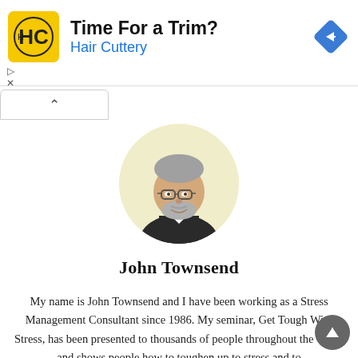[Figure (infographic): Advertisement banner for Hair Cuttery: yellow square logo with HC text, headline 'Time For a Trim?', subtext 'Hair Cuttery' in blue, blue diamond direction arrow on the right. Play and X controls at bottom left of ad.]
[Figure (photo): Circular profile photo of John Townsend, a middle-aged man with gray beard and glasses, wearing a dark suit, set against a cream/yellow circular background.]
John Townsend
My name is John Townsend and I have been working as a Stress Management Consultant since 1986. My seminar, Get Tough With Stress, has been presented to thousands of people throughout the world and shows people how to toughen up to stress and to